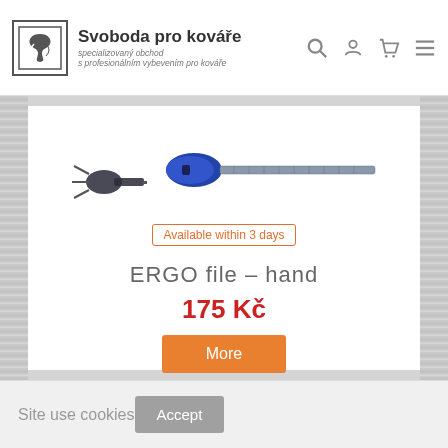Svoboda pro kováře — specializovaný obchod s profesionálním vybevením pro kováře
[Figure (photo): Product image: ERGO file hand tool with blue handle and metal file body, plus a separate small ferrule/tip component]
Available within 3 days
ERGO file – hand
175 Kč
More
Site use cookies
Accept